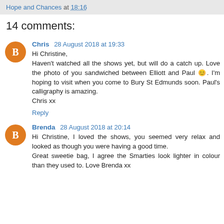Hope and Chances at 18:16
14 comments:
Chris 28 August 2018 at 19:33
Hi Christine,
Haven't watched all the shows yet, but will do a catch up. Love the photo of you sandwiched between Elliott and Paul 😊. I'm hoping to visit when you come to Bury St Edmunds soon. Paul's calligraphy is amazing.
Chris xx
Reply
Brenda 28 August 2018 at 20:14
Hi Christine, I loved the shows, you seemed very relax and looked as though you were having a good time.
Great sweetie bag, I agree the Smarties look lighter in colour than they used to. Love Brenda xx